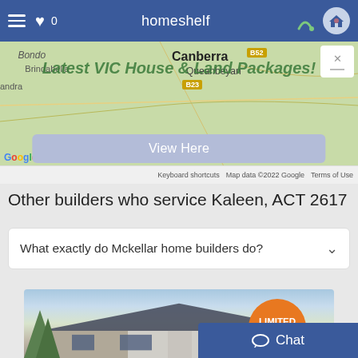homeshelf
[Figure (map): Google Maps view showing Canberra and surrounding area including Bondo, Brindabella, Queanbeyan with a green overlay ad text 'Latest VIC House & Land Packages!']
View Here
Other builders who service Kaleen, ACT 2617
What exactly do Mckellar home builders do?
[Figure (photo): Exterior photo of a modern single-storey house with brick facade, grey roof, and trees, with a LIMITED TIME badge overlay]
Chat